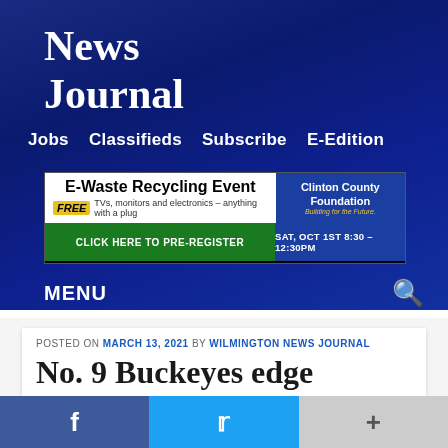News Journal
Jobs  Classifieds  Subscribe  E-Edition
[Figure (infographic): E-Waste Recycling Event advertisement banner. FREE TVs, monitors and electronics – anything with a plug. Clinton County Foundation – Building for the Future. CLICK HERE TO PRE-REGISTER. SAT, OCT 1ST 8:30 – 12:30PM. Recycle Ohio logo.]
MENU
POSTED ON MARCH 13, 2021 BY WILMINGTON NEWS JOURNAL
No. 9 Buckeyes edge No. 4 Michigan, make Big Ten title game…
f  t  +